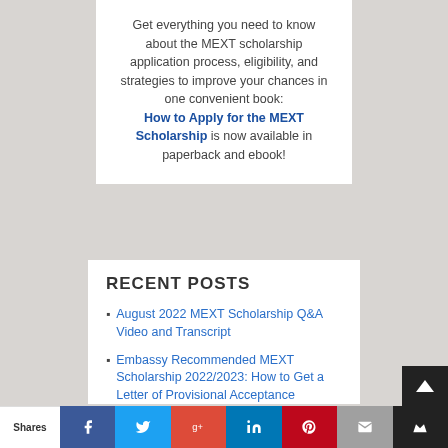Get everything you need to know about the MEXT scholarship application process, eligibility, and strategies to improve your chances in one convenient book: How to Apply for the MEXT Scholarship is now available in paperback and ebook!
RECENT POSTS
August 2022 MEXT Scholarship Q&A Video and Transcript
Embassy Recommended MEXT Scholarship 2022/2023: How to Get a Letter of Provisional Acceptance
Shares | Facebook | Twitter | Google+ | LinkedIn | Pinterest | Email | Crown